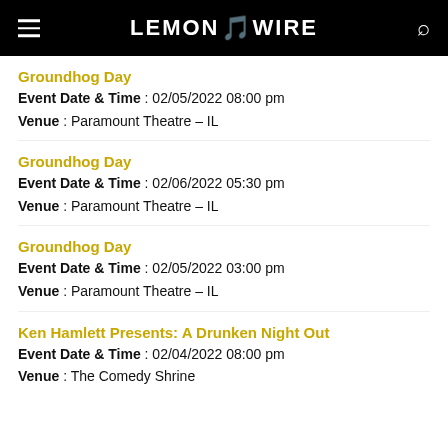LEMON ZZ WIRE
Groundhog Day
Event Date & Time : 02/05/2022 08:00 pm
Venue : Paramount Theatre – IL
Groundhog Day
Event Date & Time : 02/06/2022 05:30 pm
Venue : Paramount Theatre – IL
Groundhog Day
Event Date & Time : 02/05/2022 03:00 pm
Venue : Paramount Theatre – IL
Ken Hamlett Presents: A Drunken Night Out
Event Date & Time : 02/04/2022 08:00 pm
Venue : The Comedy Shrine